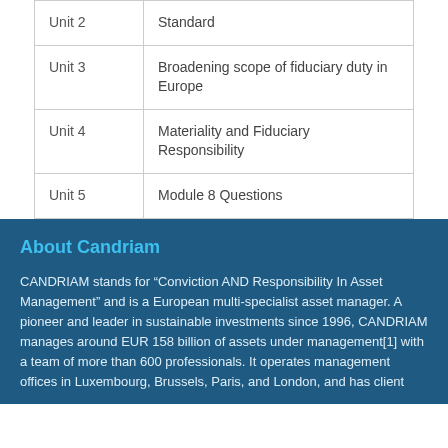| Unit | Topic |
| --- | --- |
| Unit 2 | Standard |
| Unit 3 | Broadening scope of fiduciary duty in Europe |
| Unit 4 | Materiality and Fiduciary Responsibility |
| Unit 5 | Module 8 Questions |
About Candriam
CANDRIAM stands for “Conviction AND Responsibility In Asset Management” and is a European multi-specialist asset manager. A pioneer and leader in sustainable investments since 1996, CANDRIAM manages around EUR 158 billion of assets under management[1] with a team of more than 600 professionals. It operates management offices in Luxembourg, Brussels, Paris, and London, and has client accounts in the more than 20 countries throughout the world.